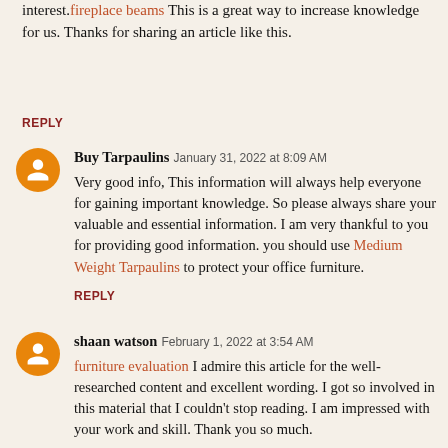interest.fireplace beams This is a great way to increase knowledge for us. Thanks for sharing an article like this.
REPLY
Buy Tarpaulins  January 31, 2022 at 8:09 AM
Very good info, This information will always help everyone for gaining important knowledge. So please always share your valuable and essential information. I am very thankful to you for providing good information. you should use Medium Weight Tarpaulins to protect your office furniture.
REPLY
shaan watson  February 1, 2022 at 3:54 AM
furniture evaluation I admire this article for the well-researched content and excellent wording. I got so involved in this material that I couldn't stop reading. I am impressed with your work and skill. Thank you so much.